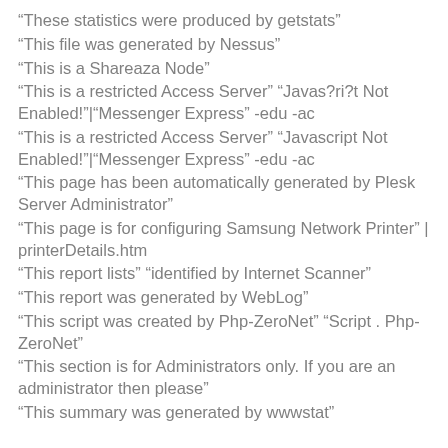“These statistics were produced by getstats”
“This file was generated by Nessus”
“This is a Shareaza Node”
“This is a restricted Access Server” “Javas?ri?t Not Enabled!”|“Messenger Express” -edu -ac
“This is a restricted Access Server” “Javascript Not Enabled!”|“Messenger Express” -edu -ac
“This page has been automatically generated by Plesk Server Administrator”
“This page is for configuring Samsung Network Printer” | printerDetails.htm
“This report lists” “identified by Internet Scanner”
“This report was generated by WebLog”
“This script was created by Php-ZeroNet” “Script . Php-ZeroNet”
“This section is for Administrators only. If you are an administrator then please”
“This summary was generated by wwwstat”